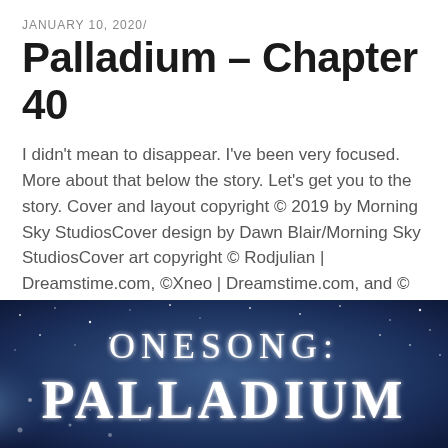JANUARY 10, 2020/
Palladium – Chapter 40
I didn't mean to disappear. I've been very focused. More about that below the story. Let's get you to the story. Cover and layout copyright © 2019 by Morning Sky StudiosCover design by Dawn Blair/Morning Sky StudiosCover art copyright © Rodjulian | Dreamstime.com, ©Xneo | Dreamstime.com, and © Gualtiero Boffi| Dreamstime.com Palladium Chapter 40 by Dawn Blair Chapter … CONTINUE READING
[Figure (illustration): Book cover banner image with blue starry background reading 'ONESONG: PALLADIUM' in large silver/white stylized text]